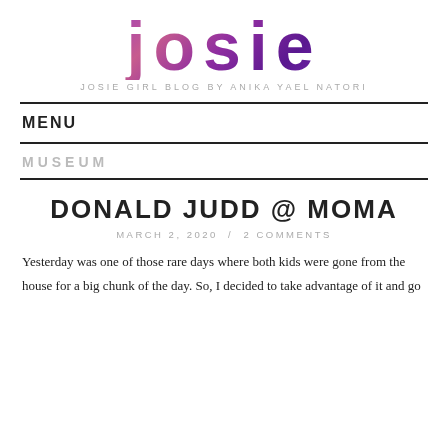[Figure (logo): Josie Girl Blog logo — large lowercase 'josie' text in floral purple pattern lettering]
JOSIE GIRL BLOG BY ANIKA YAEL NATORI
MENU
MUSEUM
DONALD JUDD @ MOMA
MARCH 2, 2020  /  2 COMMENTS
Yesterday was one of those rare days where both kids were gone from the house for a big chunk of the day. So, I decided to take advantage of it and go